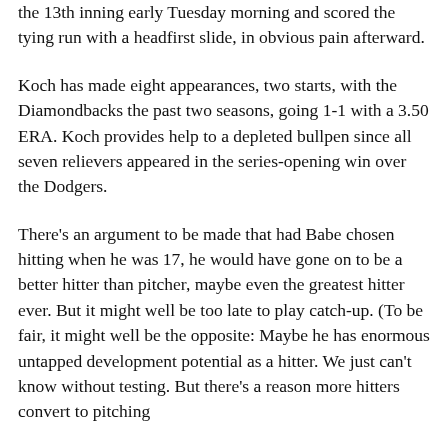the 13th inning early Tuesday morning and scored the tying run with a headfirst slide, in obvious pain afterward.
Koch has made eight appearances, two starts, with the Diamondbacks the past two seasons, going 1-1 with a 3.50 ERA. Koch provides help to a depleted bullpen since all seven relievers appeared in the series-opening win over the Dodgers.
There's an argument to be made that had Babe chosen hitting when he was 17, he would have gone on to be a better hitter than pitcher, maybe even the greatest hitter ever. But it might well be too late to play catch-up. (To be fair, it might well be the opposite: Maybe he has enormous untapped development potential as a hitter. We just can't know without testing. But there's a reason more hitters convert to pitching